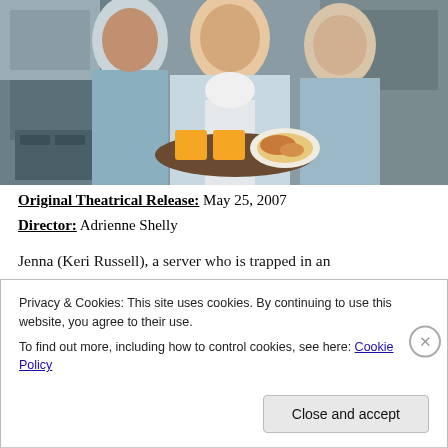[Figure (photo): Three people in a diner kitchen setting. A man and two women in blue uniforms/aprons holding a tray with orange juice glasses and a plate of food.]
Original Theatrical Release: May 25, 2007
Director: Adrienne Shelly
Jenna (Keri Russell), a server who is trapped in an
Privacy & Cookies: This site uses cookies. By continuing to use this website, you agree to their use.
To find out more, including how to control cookies, see here: Cookie Policy